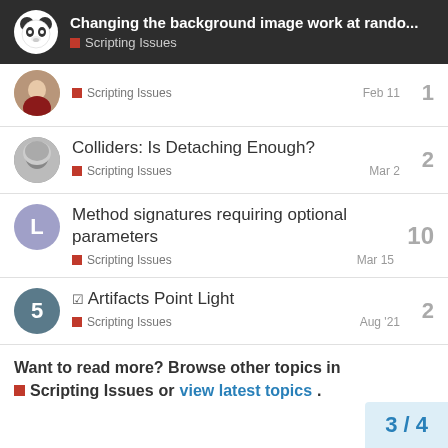Changing the background image work at rando... | Scripting Issues
Scripting Issues | Feb 11 | 1
Colliders: Is Detaching Enough? | Scripting Issues | Mar 2 | 2
Method signatures requiring optional parameters | Scripting Issues | Mar 15 | 10
✓ Artifacts Point Light | Scripting Issues | Aug '21 | 2
Want to read more? Browse other topics in Scripting Issues or view latest topics.
3 / 4